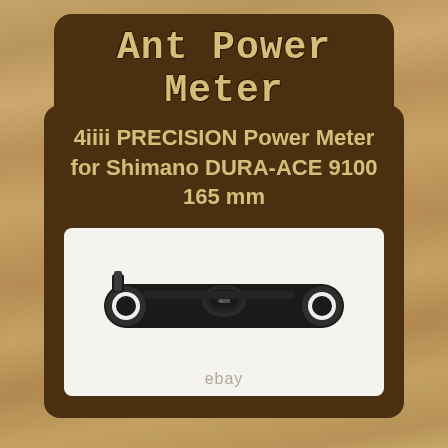Ant Power Meter
[Figure (photo): Blue bicycle component partially visible behind the brown product card]
4iiii PRECISION Power Meter for Shimano DURA-ACE 9100 165 mm
[Figure (photo): 4iiii PRECISION power meter crank arm in black, shown against white background, with 4iiii logo/sensor visible in the center of the carbon crank arm. eBay watermark at bottom.]